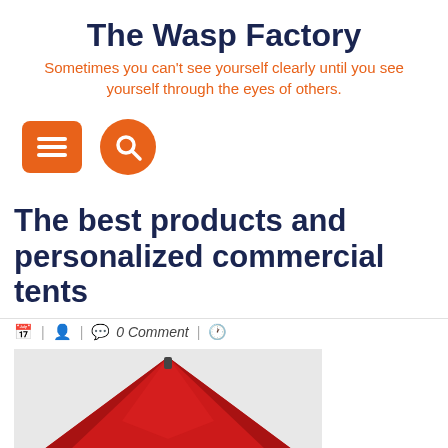The Wasp Factory
Sometimes you can't see yourself clearly until you see yourself through the eyes of others.
[Figure (screenshot): Orange square menu button with three horizontal lines, and orange circular search button with magnifying glass icon]
The best products and personalized commercial tents
| | 0 Comment |
[Figure (photo): Red pop-up canopy tent with metal frame legs, viewed from slightly above and to the side, on a light grey background]